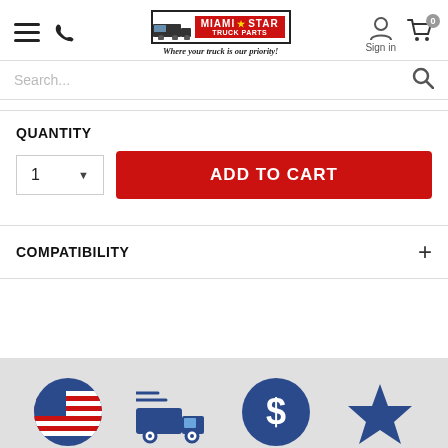[Figure (logo): Miami Star Truck Parts logo with truck graphic and tagline 'Where your truck is our priority!']
Search...
QUANTITY
ADD TO CART
COMPATIBILITY
[Figure (infographic): Footer bar with four icons: US flag circle, fast delivery truck, dollar sign circle, star]